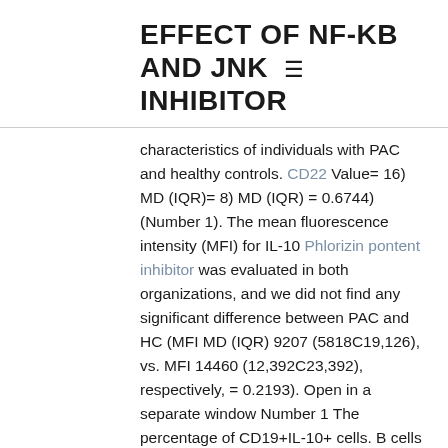EFFECT OF NF-KB AND JNK INHIBITOR
characteristics of individuals with PAC and healthy controls. CD22 Value= 16) MD (IQR)= 8) MD (IQR) = 0.6744) (Number 1). The mean fluorescence intensity (MFI) for IL-10 Phlorizin pontent inhibitor was evaluated in both organizations, and we did not find any significant difference between PAC and HC (MFI MD (IQR) 9207 (5818C19,126), vs. MFI 14460 (12,392C23,392), respectively, = 0.2193). Open in a separate window Number 1 The percentage of CD19+IL-10+ cells. B cells were identified as the CD19+ human population, as explained in Number S1D.